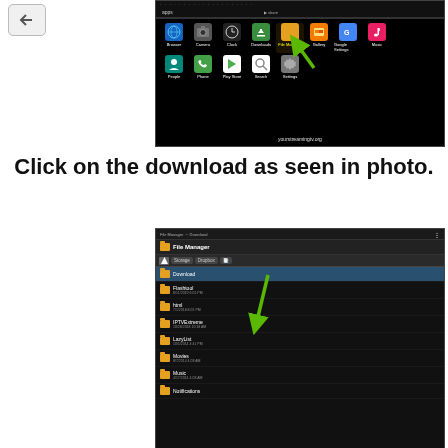[Figure (screenshot): Android app drawer screenshot with app icons including Browser, Camera, Clock, Downloads, File Manager, Gallery, Google Settings, Music in top row; People, Phone, Play Store, Search, Settings in second row. A green arrow points to the File Manager icon. Watermark: yourstreamingtv.org]
Click on the download as seen in photo.
[Figure (screenshot): Android File Manager app showing folder list: Download (selected/highlighted), Flashtool, html, IPTVExtreme, LazyList, Movies, Music, Notifications. A green arrow points from Downloads folder downward.]